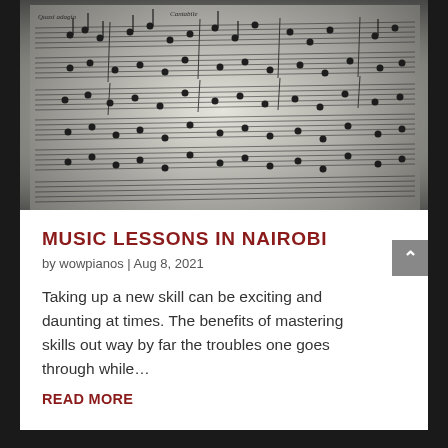[Figure (photo): Close-up photograph of sheet music pages with musical notation, black and white, slightly angled perspective]
MUSIC LESSONS IN NAIROBI
by wowpianos | Aug 8, 2021
Taking up a new skill can be exciting and daunting at times. The benefits of mastering skills out way by far the troubles one goes through while…
READ MORE